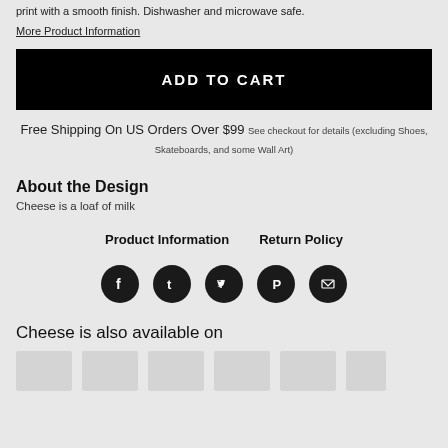print with a smooth finish. Dishwasher and microwave safe.
More Product Information
ADD TO CART
Free Shipping On US Orders Over $99 See checkout for details (excluding Shoes, Skateboards, and some Wall Art)
About the Design
Cheese is a loaf of milk
Product Information
Return Policy
[Figure (illustration): Five social media icon circles: Facebook, Tumblr, Twitter, Pinterest, Email]
Cheese is also available on
[Figure (illustration): Row of product thumbnail boxes (partially visible)]